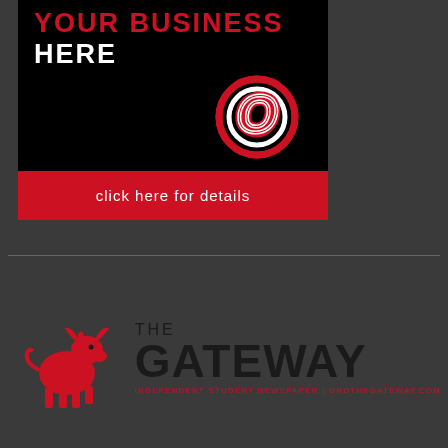[Figure (infographic): Advertisement banner with black background showing 'YOUR BUSINESS HERE' text in red and white, UNO logo (stylized O in red/white), and a red 'click here for details' button]
[Figure (logo): The Gateway independent student newspaper logo with red bull mascot and bold black GATEWAY text, subtitle: INDEPENDENT STUDENT NEWSPAPER | unothegateway.com]